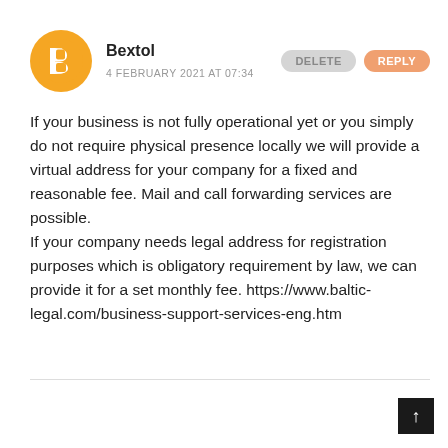[Figure (logo): Blogger orange circle avatar icon with white 'B' letter in the center]
Bextol
4 FEBRUARY 2021 AT 07:34
If your business is not fully operational yet or you simply do not require physical presence locally we will provide a virtual address for your company for a fixed and reasonable fee. Mail and call forwarding services are possible.
If your company needs legal address for registration purposes which is obligatory requirement by law, we can provide it for a set monthly fee. https://www.baltic-legal.com/business-support-services-eng.htm